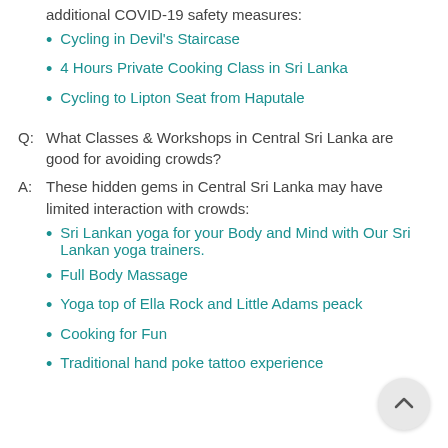These Central Sri Lanka experiences are providing additional COVID-19 safety measures:
Cycling in Devil's Staircase
4 Hours Private Cooking Class in Sri Lanka
Cycling to Lipton Seat from Haputale
Q: What Classes & Workshops in Central Sri Lanka are good for avoiding crowds?
A: These hidden gems in Central Sri Lanka may have limited interaction with crowds:
Sri Lankan yoga for your Body and Mind with Our Sri Lankan yoga trainers.
Full Body Massage
Yoga top of Ella Rock and Little Adams peack
Cooking for Fun
Traditional hand poke tattoo experience